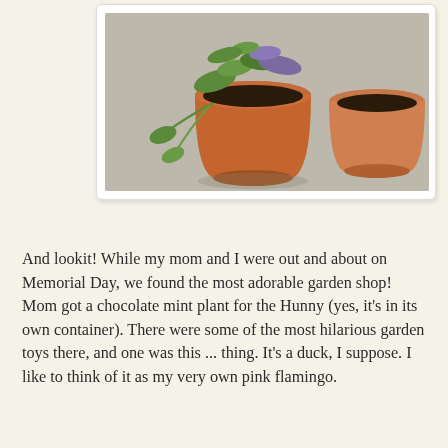[Figure (photo): Photo of terracotta flower pots with plants including a small plant with green and purple leaves on a concrete surface]
And lookit! While my mom and I were out and about on Memorial Day, we found the most adorable garden shop! Mom got a chocolate mint plant for the Hunny (yes, it's in its own container). There were some of the most hilarious garden toys there, and one was this ... thing. It's a duck, I suppose. I like to think of it as my very own pink flamingo.
[Figure (photo): Photo of a colorful novelty garden toy resembling a quirky orange duck or snail figure with antennae topped with red and purple balls, surrounded by green leafy plants and a red brick wall background]